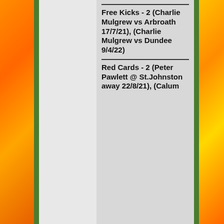Free Kicks - 2 (Charlie Mulgrew vs Arbroath 17/7/21), (Charlie Mulgrew vs Dundee 9/4/22)
Red Cards - 2 (Peter Pawlett @ St.Johnston away 22/8/21), (Calum